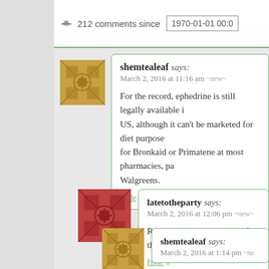212 comments since 1970-01-01 00:0
[Figure (illustration): Gold decorative avatar icon with star/diamond pattern for user shemtealeaf]
shemtealeaf says:
March 2, 2016 at 11:16 am ~new~

For the record, ephedrine is still legally available i US, although it can't be marketed for diet purpose for Bronkaid or Primatene at most pharmacies, pa Walgreens.

Hide 1
[Figure (illustration): Red decorative avatar icon with diamond/cross pattern for user latetotheparty]
latetotheparty says:
March 2, 2016 at 12:06 pm ~new~

Really? Awesome! Thanks for the info!

Hide 1
[Figure (illustration): Gold decorative avatar icon with star/diamond pattern for user shemtealeaf]
shemtealeaf says:
March 2, 2016 at 1:14 pm ~ne